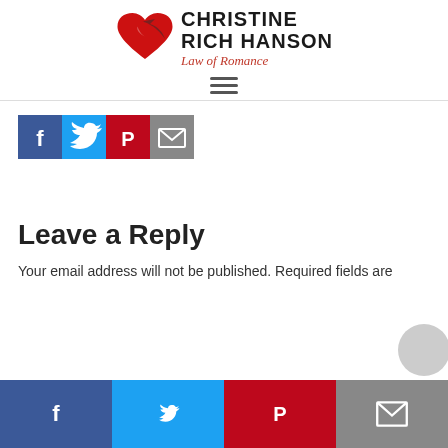[Figure (logo): Christine Rich Hanson - Law of Romance logo with red heart/arrow shape and bold text]
[Figure (infographic): Hamburger menu icon (three horizontal lines)]
[Figure (infographic): Social share buttons: Facebook (blue), Twitter (light blue), Pinterest (red), Email (gray)]
Leave a Reply
Your email address will not be published. Required fields are
[Figure (infographic): Bottom social share bar with Facebook, Twitter, Pinterest, Email icons]